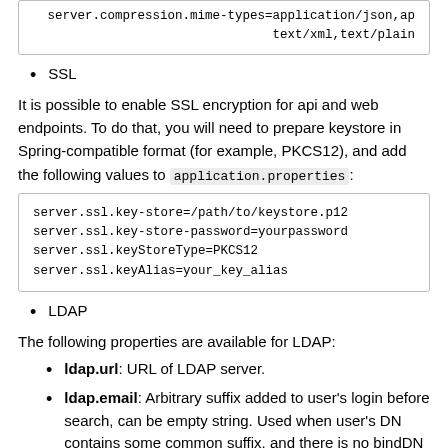server.compression.mime-types=application/json,ap
                          text/xml,text/plain
SSL
It is possible to enable SSL encryption for api and web endpoints. To do that, you will need to prepare keystore in Spring-compatible format (for example, PKCS12), and add the following values to application.properties:
server.ssl.key-store=/path/to/keystore.p12
server.ssl.key-store-password=yourpassword
server.ssl.keyStoreType=PKCS12
server.ssl.keyAlias=your_key_alias
LDAP
The following properties are available for LDAP:
ldap.url: URL of LDAP server.
ldap.email: Arbitrary suffix added to user's login before search, can be empty string. Used when user's DN contains some common suffix, and there is no bindDN